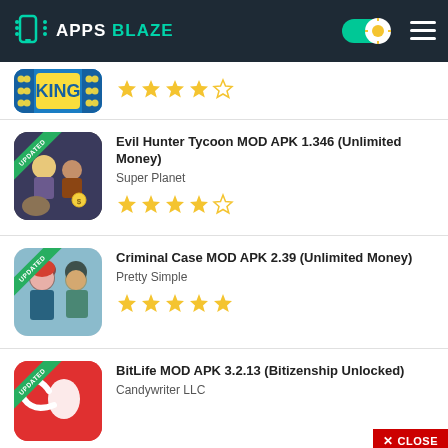[Figure (screenshot): AppsBlaze website header with logo, toggle button, and hamburger menu on dark background]
[Figure (screenshot): Partial app listing showing a King-branded game icon with 4-star rating]
Evil Hunter Tycoon MOD APK 1.346 (Unlimited Money) - Super Planet - 4 stars
Criminal Case MOD APK 2.39 (Unlimited Money) - Pretty Simple - 5 stars
BitLife MOD APK 3.2.13 (Bitizenship Unlocked) - Candywriter LLC